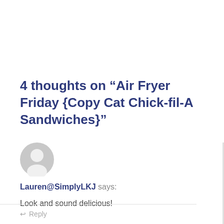4 thoughts on “Air Fryer Friday {Copy Cat Chick-fil-A Sandwiches}”
[Figure (illustration): Generic grey user avatar icon — a circular silhouette of a person]
Lauren@SimplyLKJ says:
Look and sound delicious!
↩ Reply